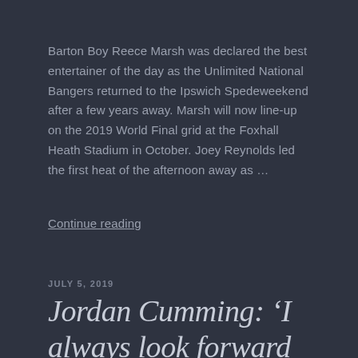Barton Boy Reece Marsh was declared the best entertainer of the day as the Unlimited National Bangers returned to the Ipswich Spedeweekend after a few years away. Marsh will now line-up on the 2019 World Final grid at the Foxhall Heath Stadium in October. Joey Reynolds led the first heat of the afternoon away as …
Continue reading
JULY 5, 2019
Jordan Cumming: ‘I always look forward to racing at Ipswich.’